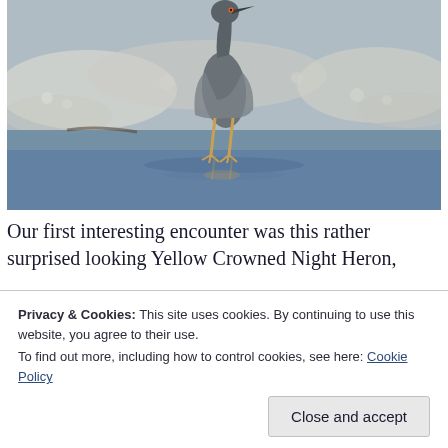[Figure (photo): A Yellow Crowned Night Heron standing in shallow water with sandy/foamy shoreline background. The bird is tall with long legs, standing upright in the water with its reflection visible below.]
Our first interesting encounter was this rather surprised looking Yellow Crowned Night Heron,
Privacy & Cookies: This site uses cookies. By continuing to use this website, you agree to their use.
To find out more, including how to control cookies, see here: Cookie Policy
Close and accept